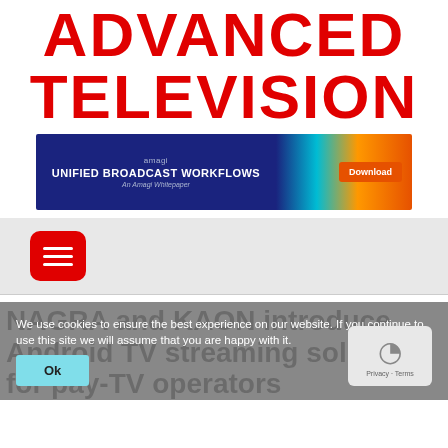ADVANCED TELEVISION
[Figure (screenshot): Amagi 'Unified Broadcast Workflows' advertisement banner with blue left panel, colorful right panel with Download button]
[Figure (other): Red rounded rectangle hamburger/menu button icon]
NAGRA and KAON introduce Android TV streaming solution for pay-TV operators
We use cookies to ensure the best experience on our website. If you continue to use this site we will assume that you are happy with it.
[Figure (other): Ok button (teal/cyan background) and reCAPTCHA logo with Privacy - Terms label]